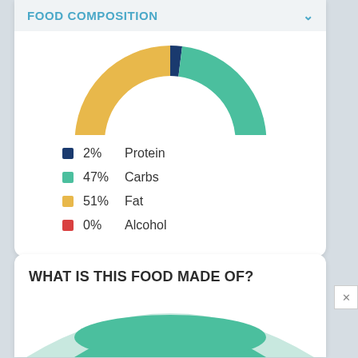FOOD COMPOSITION
[Figure (donut-chart): Food Composition]
2%   Protein
47%   Carbs
51%   Fat
0%   Alcohol
WHAT IS THIS FOOD MADE OF?
[Figure (bar-chart): Partially visible bar/area chart at bottom of page]